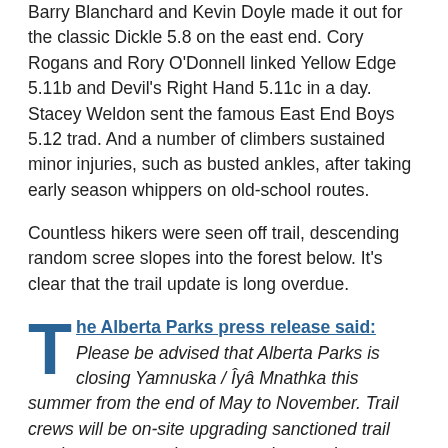Barry Blanchard and Kevin Doyle made it out for the classic Dickle 5.8 on the east end. Cory Rogans and Rory O'Donnell linked Yellow Edge 5.11b and Devil's Right Hand 5.11c in a day. Stacey Weldon sent the famous East End Boys 5.12 trad. And a number of climbers sustained minor injuries, such as busted ankles, after taking early season whippers on old-school routes.
Countless hikers were seen off trail, descending random scree slopes into the forest below. It's clear that the trail update is long overdue.
The Alberta Parks press release said: Please be advised that Alberta Parks is closing Yamnuska / Îyâ Mnathka this summer from the end of May to November. Trail crews will be on-site upgrading sanctioned trail sections, constructing new sections and decommissioning non-sanctioned routes. To support trail construction activities, Alberta Parks is closing all access to the mountain for the following reasons: